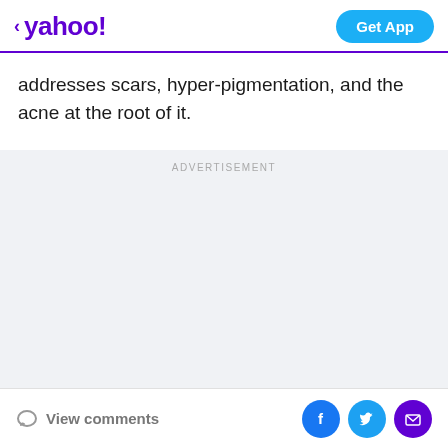< yahoo! Get App
addresses scars, hyper-pigmentation, and the acne at the root of it.
[Figure (other): Advertisement placeholder block with 'ADVERTISEMENT' label at top and 'Advertisement' label in center, light grey background]
View comments